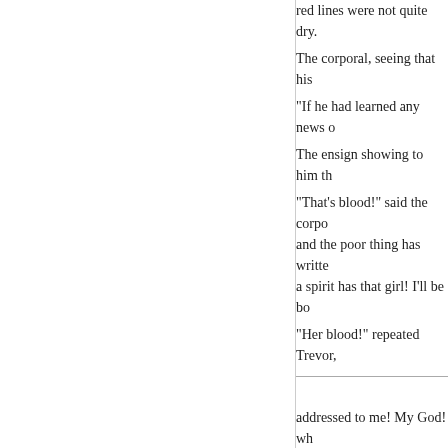red lines were not quite dry.
The corporal, seeing that his
“If he had learned any news o
The ensign showing to him th
“That’s blood!” said the corpo and the poor thing has writte a spirit has that girl! I’ll be bo
“Her blood!” repeated Trevor,
addressed to me! My God! wh than yield yourself to the com you, poor girl! But, thank God doubtless slain the third, who legitimate prey.”
The corporal, who had not the imagine the reason for the en himself warranted, as he was salute, therefore, with his han